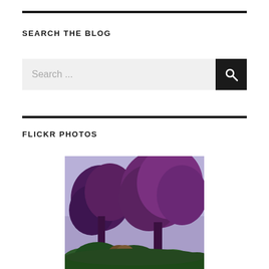SEARCH THE BLOG
[Figure (screenshot): Search input field with light gray background and placeholder text 'Search ...' with a black search button on the right containing a magnifying glass icon]
FLICKR PHOTOS
[Figure (photo): Outdoor photo showing purple/dark red leafy trees against a light purple/blue sky, with green shrubs and garden elements in the lower portion]